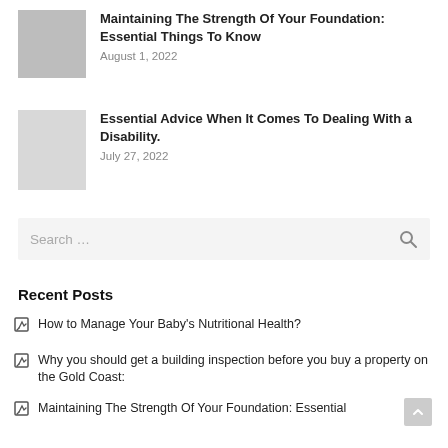[Figure (photo): Thumbnail image for article about foundation maintenance (dark/grayish image)]
Maintaining The Strength Of Your Foundation: Essential Things To Know
August 1, 2022
[Figure (photo): Thumbnail image for article about disability advice (light gray placeholder)]
Essential Advice When It Comes To Dealing With a Disability.
July 27, 2022
Search …
Recent Posts
How to Manage Your Baby's Nutritional Health?
Why you should get a building inspection before you buy a property on the Gold Coast:
Maintaining The Strength Of Your Foundation: Essential